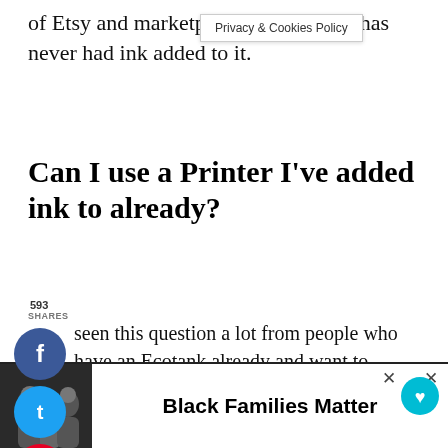of Etsy and marketplace make sure it has never had ink added to it.
[Figure (screenshot): Privacy & Cookies Policy popup/bar overlay]
Can I use a Printer I’ve added ink to already?
593 SHARES
[Figure (infographic): Social share buttons: Facebook (blue circle with f), Twitter (cyan circle with bird), Pinterest (red circle with P)]
seen this question a lot from people who have an Ecotank already and want to convert it to a sublimation printer. If you have been using printer as a regular printer with regular ink is possible to convert it to sublimation need to drain all the ink from the printer. The easiest wa... ting purch... d... he
[Figure (screenshot): What's Next widget showing Sublimation Conversion... with printer image]
[Figure (infographic): Bottom advertisement banner: Black Families Matter with photo of family, close buttons]